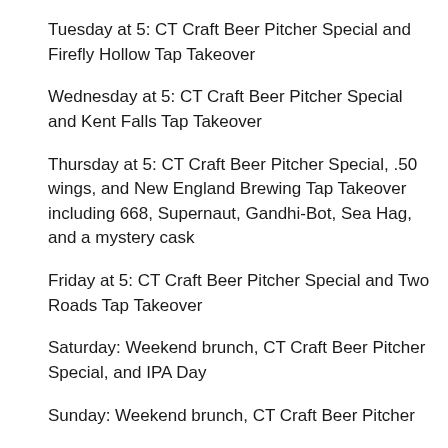Tuesday at 5: CT Craft Beer Pitcher Special and Firefly Hollow Tap Takeover
Wednesday at 5: CT Craft Beer Pitcher Special and Kent Falls Tap Takeover
Thursday at 5: CT Craft Beer Pitcher Special, .50 wings, and New England Brewing Tap Takeover including 668, Supernaut, Gandhi-Bot, Sea Hag, and a mystery cask
Friday at 5: CT Craft Beer Pitcher Special and Two Roads Tap Takeover
Saturday: Weekend brunch, CT Craft Beer Pitcher Special, and IPA Day
Sunday: Weekend brunch, CT Craft Beer Pitcher